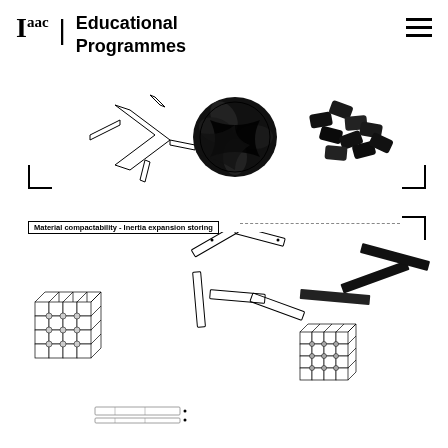Iaac | Educational Programmes
[Figure (illustration): Three images showing progression: line drawing of X-shaped cross connector, black 3D printed X-shaped cross connector, black textured curved connector pieces]
Material compactability - Inertia expansion storing
[Figure (engineering-diagram): Exploded axonometric diagram showing components of a lattice/grid structure: individual flat cross pieces assembling into a 3D grid, with multiple grid assemblies shown at different scales and configurations]